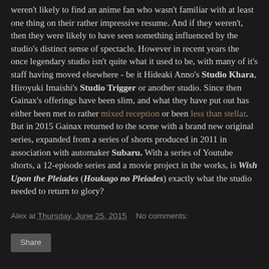weren't likely to find an anime fan who wasn't familiar with at least one thing on their rather impressive resume. And if they weren't, then they were likely to have seen something influenced by the studio's distinct sense of spectacle. However in recent years the once legendary studio isn't quite what it used to be, with many of it's staff having moved elsewhere - be it Hideaki Anno's Studio Khara, Hiroyuki Imaishi's Studio Trigger or another studio. Since then Gainax's offerings have been slim, and what they have put out has either been met to rather mixed reception or been less than stellar. But in 2015 Gainax returned to the scene with a brand new original series, expanded from a series of shorts produced in 2011 in association with automaker Subaru. With a series of Youtube shorts, a 12-episode series and a movie project in the works, is Wish Upon the Pleiades (Houkago no Pleiades) exactly what the studio needed to return to glory?
Alex at Thursday, June 25, 2015  No comments:
Share